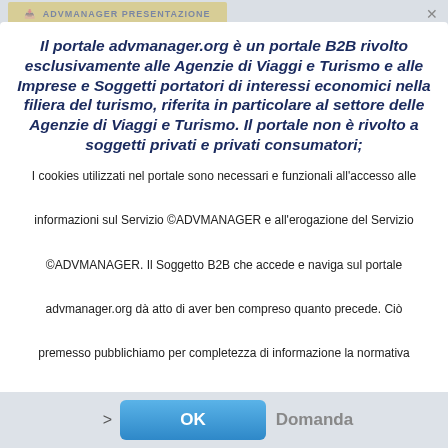ADVMANAGER PRESENTAZIONE
Il portale advmanager.org è un portale B2B rivolto esclusivamente alle Agenzie di Viaggi e Turismo e alle Imprese e Soggetti portatori di interessi economici nella filiera del turismo, riferita in particolare al settore delle Agenzie di Viaggi e Turismo. Il portale non è rivolto a soggetti privati e privati consumatori;
I cookies utilizzati nel portale sono necessari e funzionali all'accesso alle informazioni sul Servizio ©ADVMANAGER e all'erogazione del Servizio ©ADVMANAGER. Il Soggetto B2B che accede e naviga sul portale advmanager.org dà atto di aver ben compreso quanto precede. Ciò premesso pubblichiamo per completezza di informazione la normativa estesa sull'utilizzo dei cookies. Ulteriori info